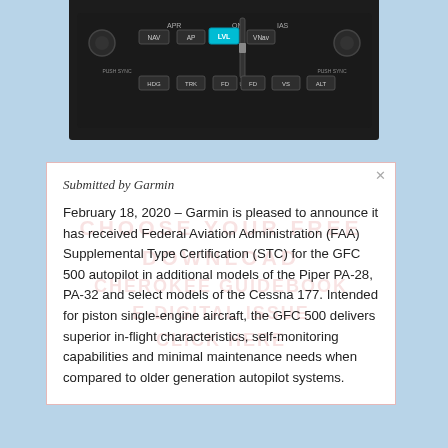[Figure (photo): Garmin GFC 500 autopilot control panel unit, dark hardware device with buttons and controls]
Submitted by Garmin
February 18, 2020 – Garmin is pleased to announce it has received Federal Aviation Administration (FAA) Supplemental Type Certification (STC) for the GFC 500 autopilot in additional models of the Piper PA-28, PA-32 and select models of the Cessna 177. Intended for piston single-engine aircraft, the GFC 500 delivers superior in-flight characteristics, self-monitoring capabilities and minimal maintenance needs when compared to older generation autopilot systems.